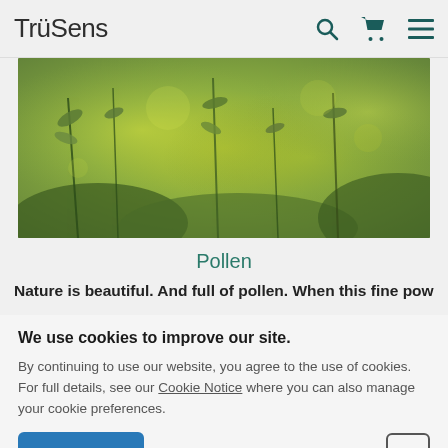TruSens
[Figure (photo): Close-up photo of green plants/weeds with blurred bokeh background in yellow-green tones, representing pollen-producing plants outdoors]
Pollen
Nature is beautiful. And full of pollen. When this fine powder
We use cookies to improve our site.
By continuing to use our website, you agree to the use of cookies. For full details, see our Cookie Notice where you can also manage your cookie preferences.
OK  Cookie Preferences  ✕